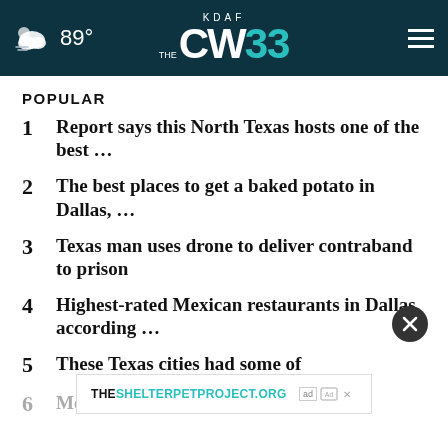89° KDAF CW33
POPULAR
1 Report says this North Texas hosts one of the best ...
2 The best places to get a baked potato in Dallas, ...
3 Texas man uses drone to deliver contraband to prison
4 Highest-rated Mexican restaurants in Dallas, according ...
5 These Texas cities had some of w...
6 Meyers Taylor makes Olympic history
THESHELTERPETPROJECT.ORG